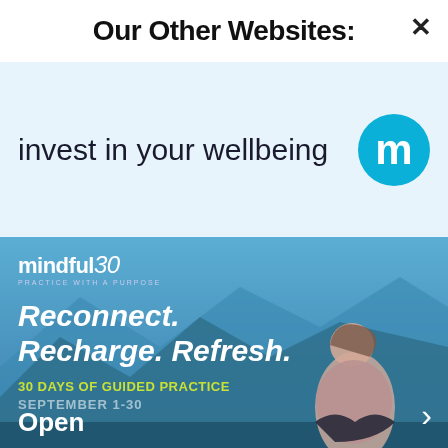Our Other Websites:
[Figure (illustration): Advertisement banner with light blue background showing 'invest in your wellbeing' text and a circular 'm' logo (Mindful brand logo)]
[Figure (photo): Mindful30 advertisement. Background photo of a woman meditating in lotus position on a mountaintop with blue mountain scenery. Text reads: mindful30 PRACTICE WITH A PURPOSE, Reconnect. Recharge. Refresh., 30 DAYS OF GUIDED PRACTICE, SEPTEMBER 1-30, Open with a chevron arrow.]